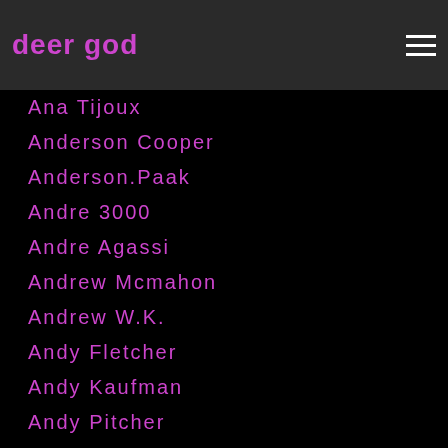deer god
Ana Tijoux
Anderson Cooper
Anderson.Paak
Andre 3000
Andre Agassi
Andrew Mcmahon
Andrew W.K.
Andy Fletcher
Andy Kaufman
Andy Pitcher
Andy Summers
Andy Warhol
Andy Whitehorn
Andy Wood
Angela Carter
Angelica Frankenstein
Angels & Airwaves